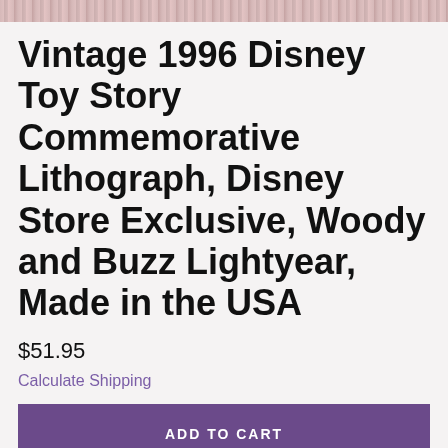[decorative banner image]
Vintage 1996 Disney Toy Story Commemorative Lithograph, Disney Store Exclusive, Woody and Buzz Lightyear, Made in the USA
$51.95
Calculate Shipping
ADD TO CART
Ask a question
Details    Shipping & Policies